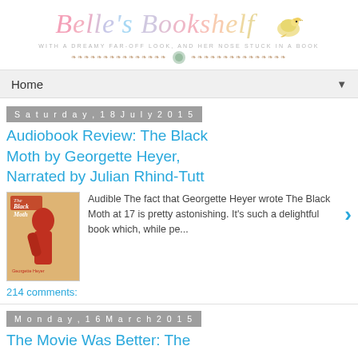[Figure (logo): Belle's Bookshelf blog header with decorative script title in pastel colors, subtitle 'WITH A DREAMY FAR-OFF LOOK, AND HER NOSE STUCK IN A BOOK', decorative divider with floral elements and a small yellow bird illustration]
Home ▼
Saturday, 18 July 2015
Audiobook Review: The Black Moth by Georgette Heyer, Narrated by Julian Rhind-Tutt
[Figure (photo): Book cover of The Black Moth - showing a red silhouette figure against a patterned background with text 'Black Moth']
Audible The fact that Georgette Heyer wrote The Black Moth at 17 is pretty astonishing. It's such a delightful book which, while pe...
214 comments:
Monday, 16 March 2015
The Movie Was Better: The